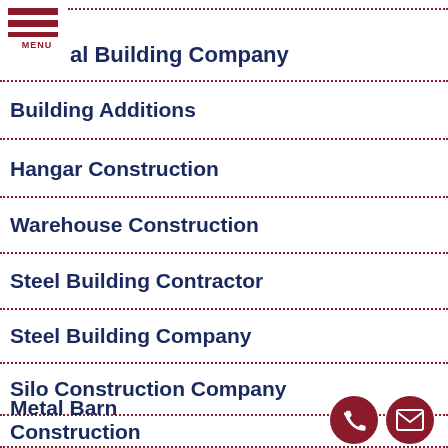al Building Company
Building Additions
Hangar Construction
Warehouse Construction
Steel Building Contractor
Steel Building Company
Silo Construction Company
Metal Barn Construction Company